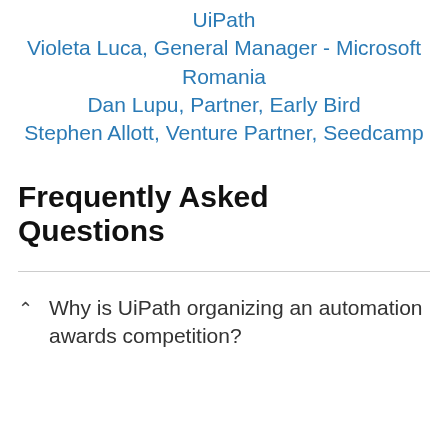UiPath
Violeta Luca, General Manager - Microsoft Romania
Dan Lupu, Partner, Early Bird
Stephen Allott, Venture Partner, Seedcamp
Frequently Asked Questions
Why is UiPath organizing an automation awards competition?